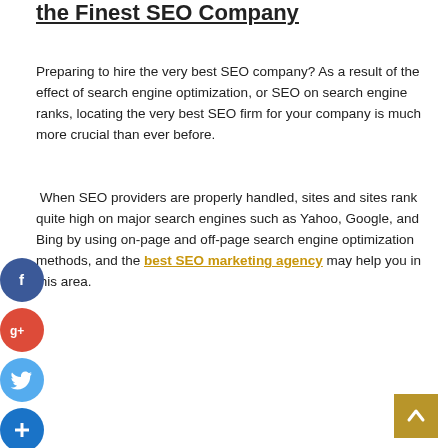the Finest SEO Company
Preparing to hire the very best SEO company? As a result of the effect of search engine optimization, or SEO on search engine ranks, locating the very best SEO firm for your company is much more crucial than ever before.
When SEO providers are properly handled, sites and sites rank quite high on major search engines such as Yahoo, Google, and Bing by using on-page and off-page search engine optimization methods, and the best SEO marketing agency may help you in this area.
[Figure (infographic): Social media share icons: Facebook (blue circle with f), Google+ (red circle with g+), Twitter (light blue circle with bird), and a blue circle with + sign]
[Figure (other): Back to top button: gold/tan square with upward-pointing chevron arrow]